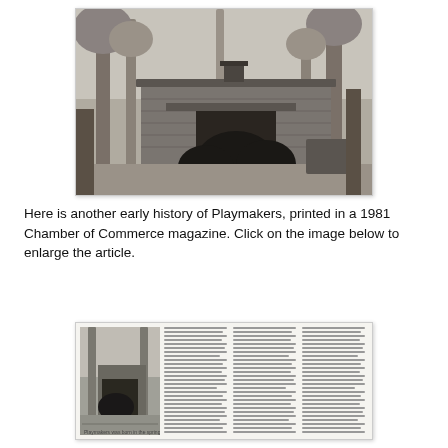[Figure (photo): Black and white photograph of a low wooden building surrounded by large trees, appearing to be a rustic theater or community building.]
Here is another early history of Playmakers, printed in a 1981 Chamber of Commerce magazine. Click on the image below to enlarge the article.
[Figure (photo): Thumbnail image of a 1981 Chamber of Commerce magazine article about Playmakers, showing a photo of the building on the left and columns of text on the right.]